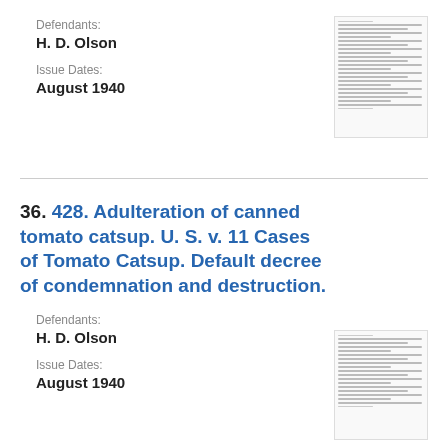Defendants:
H. D. Olson
Issue Dates:
August 1940
[Figure (other): Thumbnail image of a legal document page]
36. 428. Adulteration of canned tomato catsup. U. S. v. 11 Cases of Tomato Catsup. Default decree of condemnation and destruction.
Defendants:
H. D. Olson
Issue Dates:
August 1940
[Figure (other): Thumbnail image of a legal document page]